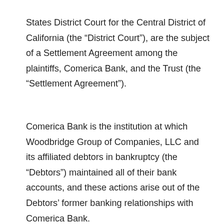States District Court for the Central District of California (the “District Court”), are the subject of a Settlement Agreement among the plaintiffs, Comerica Bank, and the Trust (the “Settlement Agreement”).
Comerica Bank is the institution at which Woodbridge Group of Companies, LLC and its affiliated debtors in bankruptcy (the “Debtors”) maintained all of their bank accounts, and these actions arise out of the Debtors’ former banking relationships with Comerica Bank.